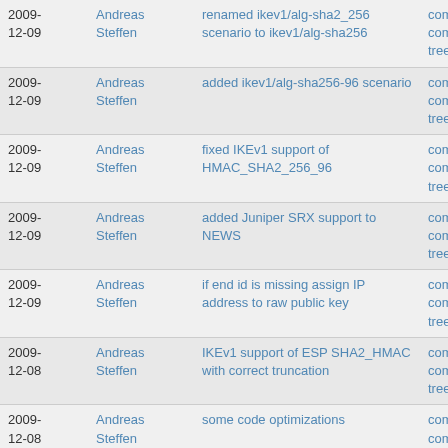| Date | Author | Message | Links |
| --- | --- | --- | --- |
| 2009-12-09 | Andreas Steffen | renamed ikev1/alg-sha2_256 scenario to ikev1/alg-sha256 | commit | commitdiff | tree |
| 2009-12-09 | Andreas Steffen | added ikev1/alg-sha256-96 scenario | commit | commitdiff | tree |
| 2009-12-09 | Andreas Steffen | fixed IKEv1 support of HMAC_SHA2_256_96 | commit | commitdiff | tree |
| 2009-12-09 | Andreas Steffen | added Juniper SRX support to NEWS | commit | commitdiff | tree |
| 2009-12-09 | Andreas Steffen | if end id is missing assign IP address to raw public key | commit | commitdiff | tree |
| 2009-12-08 | Andreas Steffen | IKEv1 support of ESP SHA2_HMAC with correct truncation | commit | commitdiff | tree |
| 2009-12-08 | Andreas Steffen | some code optimizations | commit | commitdiff | tree |